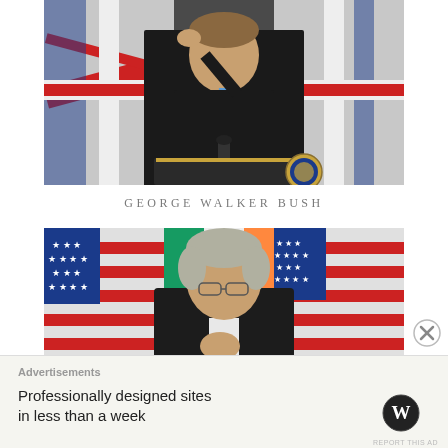[Figure (photo): Photo of George Walker Bush in a dark suit with blue tie, speaking at a podium with the Presidential seal, with Union Jack flags in the background]
GEORGE WALKER BUSH
[Figure (photo): Photo of Bill Clinton in a dark suit, hand raised to his mouth in a thoughtful pose, with American and Irish flags in the background]
Advertisements
Professionally designed sites in less than a week